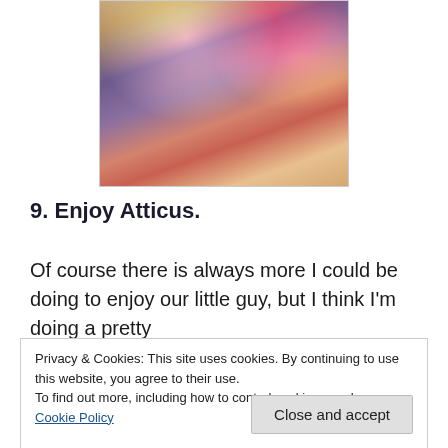[Figure (photo): A photo of a woman smiling, with a child in a red striped outfit visible behind her. The woman is wearing a dark purple/navy sleeveless top.]
9. Enjoy Atticus.
Of course there is always more I could be doing to enjoy our little guy, but I think I'm doing a pretty
Privacy & Cookies: This site uses cookies. By continuing to use this website, you agree to their use.
To find out more, including how to control cookies, see here: Cookie Policy
Close and accept